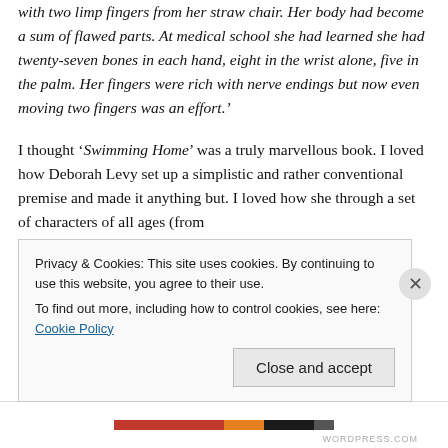with two limp fingers from her straw chair. Her body had become a sum of flawed parts. At medical school she had learned she had twenty-seven bones in each hand, eight in the wrist alone, five in the palm. Her fingers were rich with nerve endings but now even moving two fingers was an effort.'
I thought 'Swimming Home' was a truly marvellous book. I loved how Deborah Levy set up a simplistic and rather conventional premise and made it anything but. I loved how she through a set of characters of all ages (from
Privacy & Cookies: This site uses cookies. By continuing to use this website, you agree to their use.
To find out more, including how to control cookies, see here: Cookie Policy